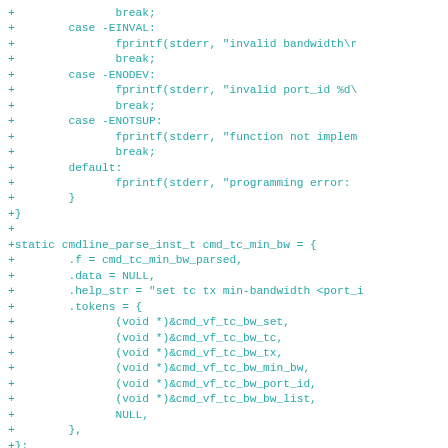[Figure (screenshot): Code diff snippet in monospace teal font showing C code additions with + prefix, including switch-case error handling and cmdline_parse_inst_t struct initialization with token arrays.]